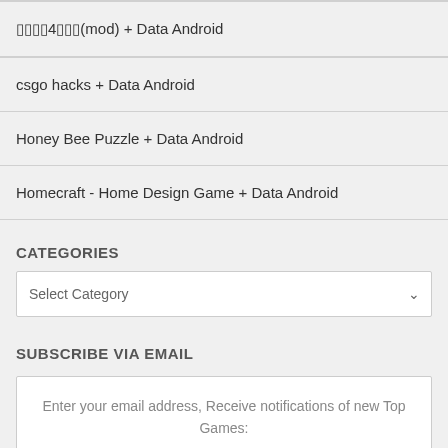████4██(mod) + Data Android
csgo hacks + Data Android
Honey Bee Puzzle + Data Android
Homecraft - Home Design Game + Data Android
CATEGORIES
Select Category
SUBSCRIBE VIA EMAIL
Enter your email address, Receive notifications of new Top Games: